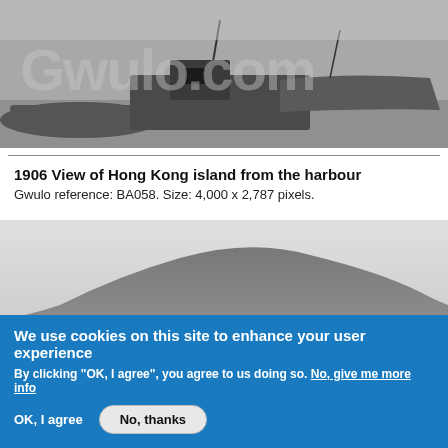[Figure (photo): Black and white historical photograph of harbour boats/vessels, with Gwulo.com watermark overlay]
[Figure (photo): Black and white 1906 photograph of Hong Kong island viewed from the harbour, showing mountain silhouette with Gwulo watermark]
1906 View of Hong Kong island from the harbour
Gwulo reference: BA058. Size: 4,000 x 2,787 pixels.
We use cookies on this site to enhance your user experience
By clicking "OK, I agree", you agree to us doing so. No, give me more info
OK, I agree
No, thanks